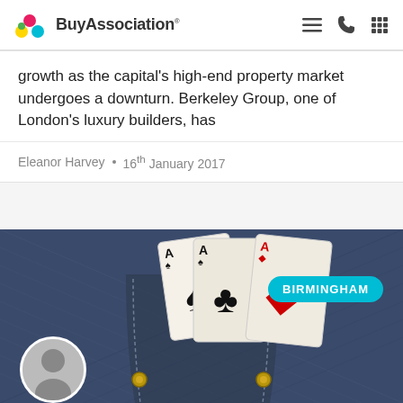BuyAssociation
growth as the capital's high-end property market undergoes a downturn. Berkeley Group, one of London's luxury builders, has
Eleanor Harvey • 16th January 2017
[Figure (photo): Three playing cards (Ace of Spades x2 and Ace of Diamonds) sticking out of a denim jeans pocket, with a BIRMINGHAM label badge overlay and an author avatar at the bottom left.]